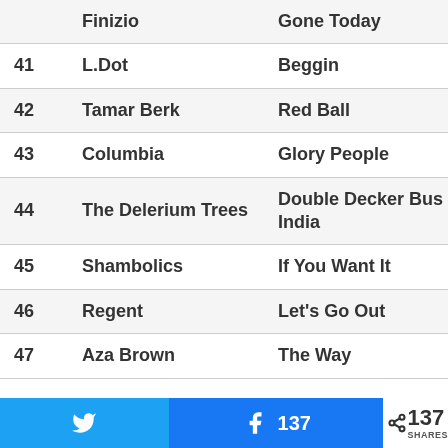| # | Artist | Song |
| --- | --- | --- |
|  | Finizio | Gone Today |
| 41 | L.Dot | Beggin |
| 42 | Tamar Berk | Red Ball |
| 43 | Columbia | Glory People |
| 44 | The Delerium Trees | Double Decker Bus in India |
| 45 | Shambolics | If You Want It |
| 46 | Regent | Let's Go Out |
| 47 | Aza Brown | The Way |
Twitter share | Facebook share 137 | 137 SHARES